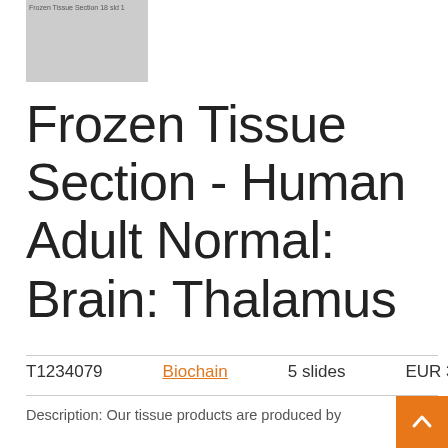[Figure (screenshot): Thumbnail image placeholder showing truncated text 'Frozen Tissue Section - Human Adult Normal 18 sld 1' on a gray background]
Frozen Tissue Section - Human Adult Normal: Brain: Thalamus
T1234079    Biochain    5 slides    EUR 349
Description: Our tissue products are produced by